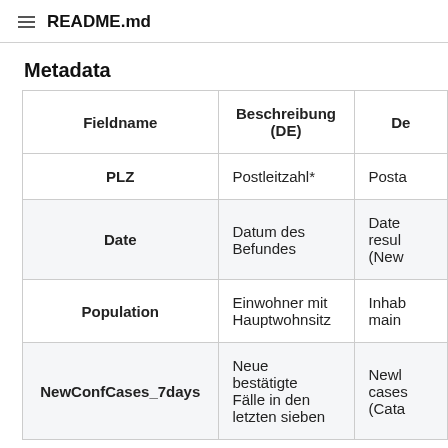README.md
Metadata
| Fieldname | Beschreibung (DE) | De |
| --- | --- | --- |
| PLZ | Postleitzahl* | Posta |
| Date | Datum des Befundes | Date result (New |
| Population | Einwohner mit Hauptwohnsitz | Inhab main |
| NewConfCases_7days | Neue bestätigte Fälle in den letzten sieben | Newl cases (Cata |